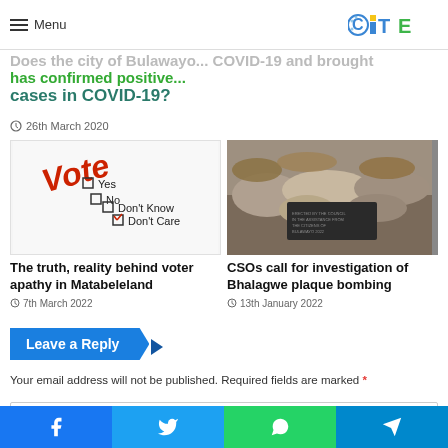Menu — CITE logo
cases in COVID-19?
26th March 2020
[Figure (photo): Vote ballot image showing checkboxes for Yes, No, Don't Know, Don't Care with Don't Care checked]
The truth, reality behind voter apathy in Matabeleland
7th March 2022
[Figure (photo): Destroyed Bhalagwe plaque with rubble around it]
CSOs call for investigation of Bhalagwe plaque bombing
13th January 2022
Leave a Reply
Your email address will not be published. Required fields are marked *